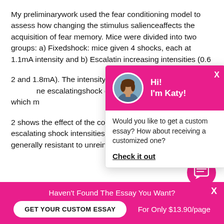My preliminarywork used the fear conditioning model to assess how changing the stimulus salienceaffects the acquisition of fear memory. Mice were divided into two groups: a) Fixedshock: mice given 4 shocks, each at 1.1mA intensity and b) Escalating increasing intensities (0.6...
2 and 1.8mA). The intensity represents the average shock escalatingshock group. The shock intensity to which m...
2 shows the effect of the conditioned contextualfre by escalating shock intensities show higher freezing was generally resistant to unreinforced exposures to the...
[Figure (screenshot): Chat popup widget with pink header showing avatar of a woman and text 'Hi! I'm Katy!', body asking 'Would you like to get a custom essay? How about receiving a customized one?' with 'Check it out' link, and an X close button]
[Figure (other): Pink circle button with message/chat icon]
Haven't Found The Essay You Want?
GET YOUR CUSTOM ESSAY    For Only $13.90/page